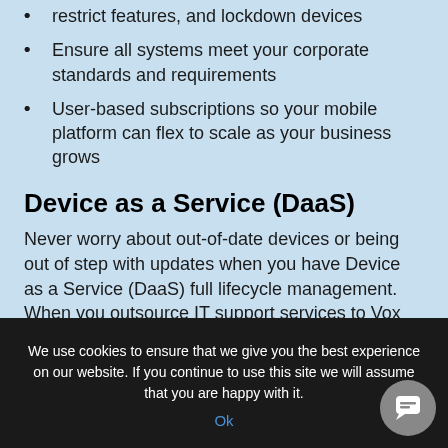restrict features, and lockdown devices
Ensure all systems meet your corporate standards and requirements
User-based subscriptions so your mobile platform can flex to scale as your business grows
Device as a Service (DaaS)
Never worry about out-of-date devices or being out of step with updates when you have Device as a Service (DaaS) full lifecycle management. When you outsource IT support services to Vox Mobile, recouping your old devices and deploying new
We use cookies to ensure that we give you the best experience on our website. If you continue to use this site we will assume that you are happy with it.
Ok